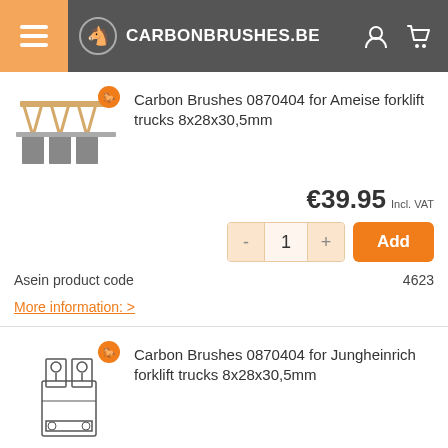CARBONBRUSHES.BE
[Figure (photo): Carbon brush set product image for Ameise forklift trucks]
Carbon Brushes 0870404 for Ameise forklift trucks 8x28x30,5mm
€39.95 Incl. VAT
Asein product code  4623
More information: >
[Figure (photo): Carbon brush product image for Jungheinrich forklift trucks]
Carbon Brushes 0870404 for Jungheinrich forklift trucks 8x28x30,5mm
€79.95 Incl. VAT